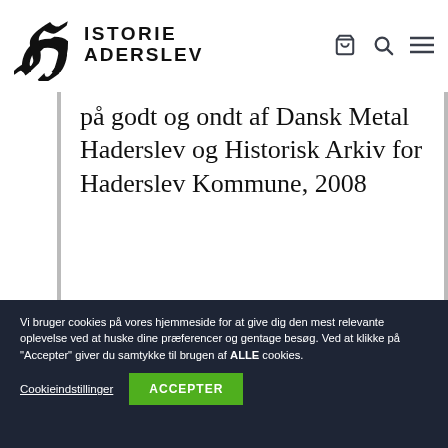HISTORIE HADERSLEV
på godt og ondt af Dansk Metal Haderslev og Historisk Arkiv for Haderslev Kommune, 2008
Vi bruger cookies på vores hjemmeside for at give dig den mest relevante oplevelse ved at huske dine præferencer og gentage besøg. Ved at klikke på "Accepter" giver du samtykke til brugen af ALLE cookies.
Cookieindstillinger
ACCEPTER